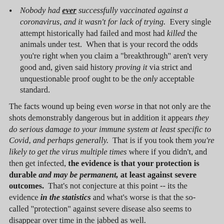Nobody had ever successfully vaccinated against a coronavirus, and it wasn't for lack of trying. Every single attempt historically had failed and most had killed the animals under test. When that is your record the odds you're right when you claim a "breakthrough" aren't very good and, given said history proving it via strict and unquestionable proof ought to be the only acceptable standard.
The facts wound up being even worse in that not only are the shots demonstrably dangerous but in addition it appears they do serious damage to your immune system at least specific to Covid, and perhaps generally. That is if you took them you're likely to get the virus multiple times where if you didn't, and then get infected, the evidence is that your protection is durable and may be permanent, at least against severe outcomes. That's not conjecture at this point -- its the evidence in the statistics and what's worse is that the so-called "protection" against severe disease also seems to disappear over time in the jabbed as well.